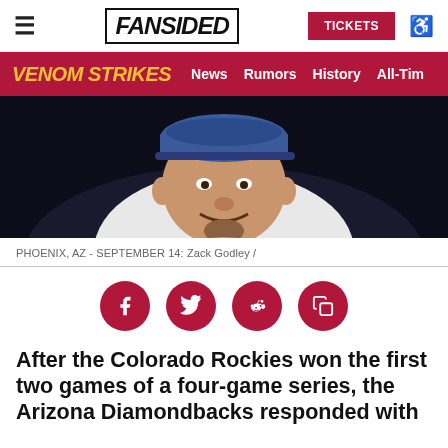FANSIDED | TICKETS
VENOM STRIKES | News | Rumors | History | All-Tim
[Figure (photo): Close-up photo of baseball pitcher Zack Godley wearing a blue cap and white uniform, smiling, dark background]
PHOENIX, AZ - SEPTEMBER 14: Zack Godley /
[Figure (infographic): Social sharing icons row: Facebook, Twitter, Reddit, Copy/share — all in dark red circles]
After the Colorado Rockies won the first two games of a four-game series, the Arizona Diamondbacks responded with